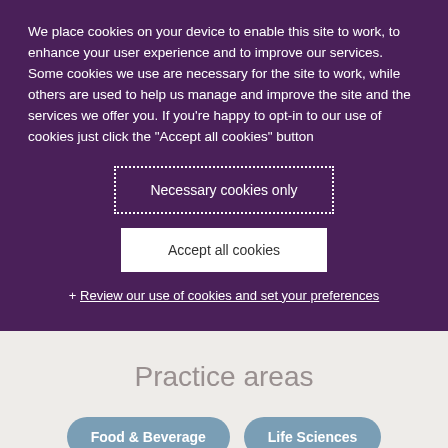We place cookies on your device to enable this site to work, to enhance your user experience and to improve our services. Some cookies we use are necessary for the site to work, while others are used to help us manage and improve the site and the services we offer you. If you're happy to opt-in to our use of cookies just click the "Accept all cookies" button
Necessary cookies only
Accept all cookies
+ Review our use of cookies and set your preferences
Practice areas
Food & Beverage
Life Sciences